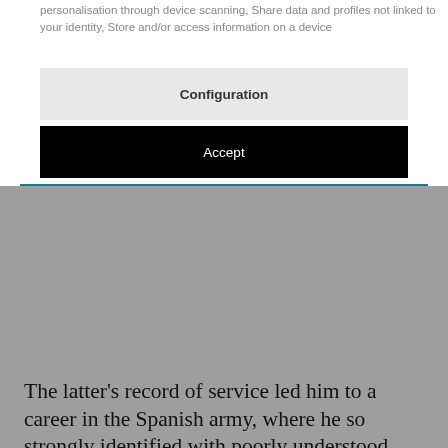personalisation through device scanning, Share data and profiles not linked to your identity, Store and/or access information on a device
Configuration
Accept
The latter's record of service led him to a career in the Spanish army, where he so strongly identified with poorly understood national essences that he ended up becoming a renowned coup leader. Even so, Andor Zala became one of his best friends.
There must have been other factors at play. Perhaps it was Zala's great love of the sea, his adeptness at catching tuna, his personal charm and his chutzpah that got the